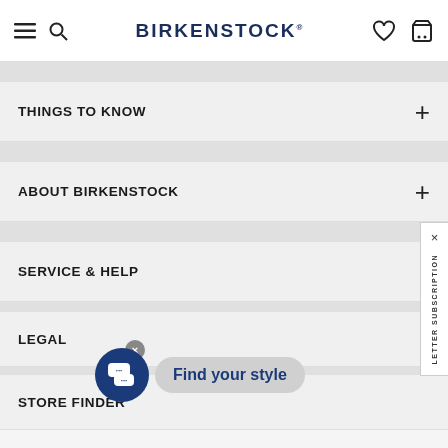BIRKENSTOCK
THINGS TO KNOW
ABOUT BIRKENSTOCK
SERVICE & HELP
LEGAL
STORE FINDER
[Figure (screenshot): Chat widget with close button (X), dark blue circular chat bubble icon with speech bubbles, and a light gray rounded rectangle callout reading 'Find your style' in blue text]
[Figure (other): NEWSLETTER SUBSCRIPTION side tab on right edge with X close button]